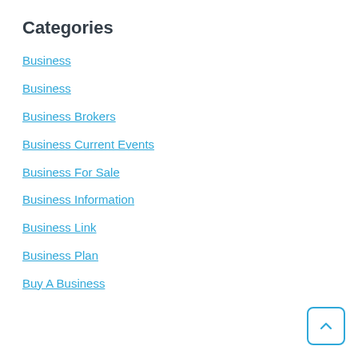Categories
Business
Business
Business Brokers
Business Current Events
Business For Sale
Business Information
Business Link
Business Plan
Buy A Business